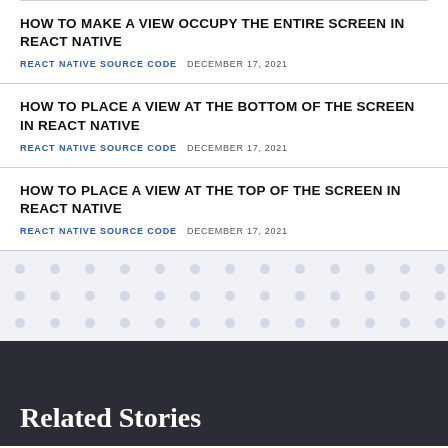HOW TO MAKE A VIEW OCCUPY THE ENTIRE SCREEN IN REACT NATIVE
REACT NATIVE SOURCE CODE   DECEMBER 17, 2021
HOW TO PLACE A VIEW AT THE BOTTOM OF THE SCREEN IN REACT NATIVE
REACT NATIVE SOURCE CODE   DECEMBER 17, 2021
HOW TO PLACE A VIEW AT THE TOP OF THE SCREEN IN REACT NATIVE
REACT NATIVE SOURCE CODE   DECEMBER 17, 2021
[Figure (illustration): Decorative dot pattern background in light blue-grey on white]
Related Stories